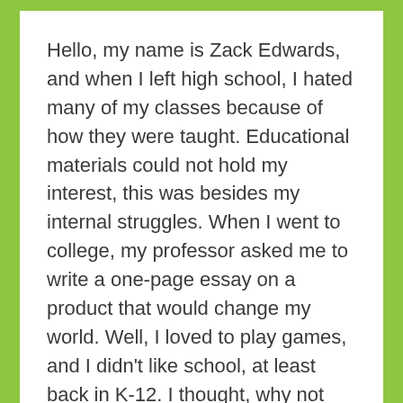Hello, my name is Zack Edwards, and when I left high school, I hated many of my classes because of how they were taught. Educational materials could not hold my interest, this was besides my internal struggles. When I went to college, my professor asked me to write a one-page essay on a product that would change my world. Well, I loved to play games, and I didn't like school, at least back in K-12. I thought, why not put the two together, to